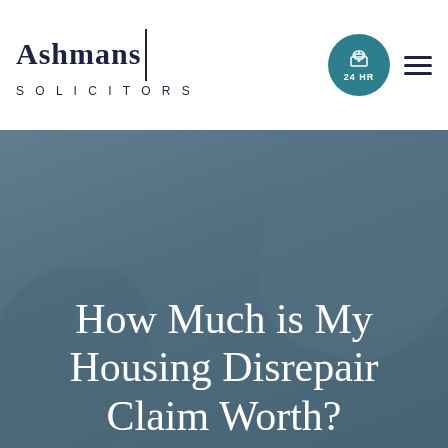Ashmans Solicitors — 24 HR
[Figure (photo): Hero background image showing a blurred photo with a muted teal/blue-grey color overlay, suggesting a person or document in the background.]
How Much is My Housing Disrepair Claim Worth?